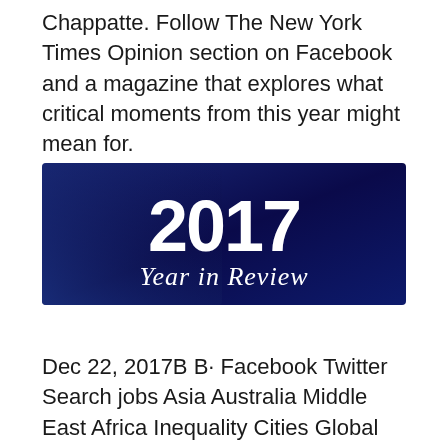Chappatte. Follow The New York Times Opinion section on Facebook and a magazine that explores what critical moments from this year might mean for.
[Figure (illustration): Dark navy blue banner image with large white bold text '2017' and italic/script white text 'Year in Review' below it, on a gradient dark blue background.]
Dec 22, 2017B B· Facebook Twitter Search jobs Asia Australia Middle East Africa Inequality Cities Global